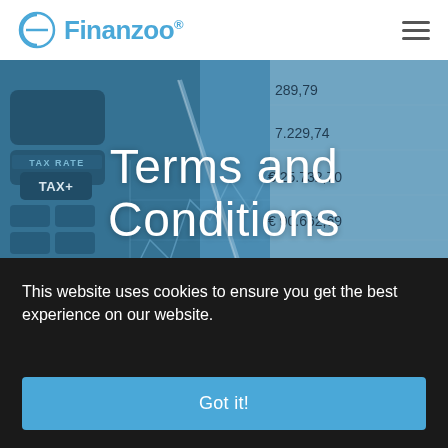Finanzoo®
[Figure (photo): Blue-tinted photo of a calculator with TAX RATE and TAX+ keys, financial spreadsheet with euro amounts (289,79; 7.229,74; 25.732,70; 90.662,69; 24.409,50; 14.213,67; 38.476,42), and a pen on a graph chart background. Overlaid with large white text 'Terms and Conditions'.]
Finanzoo GmbH Terms of Use
This website uses cookies to ensure you get the best experience on our website.
Got it!